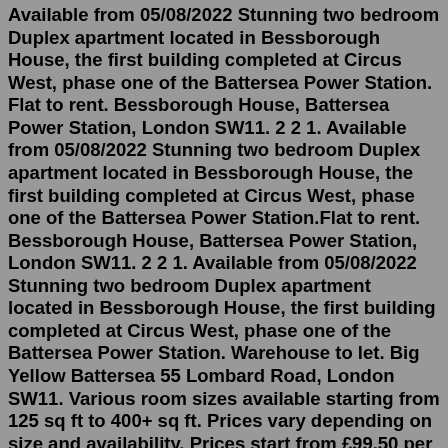Available from 05/08/2022 Stunning two bedroom Duplex apartment located in Bessborough House, the first building completed at Circus West, phase one of the Battersea Power Station. Flat to rent. Bessborough House, Battersea Power Station, London SW11. 2 2 1. Available from 05/08/2022 Stunning two bedroom Duplex apartment located in Bessborough House, the first building completed at Circus West, phase one of the Battersea Power Station.Flat to rent. Bessborough House, Battersea Power Station, London SW11. 2 2 1. Available from 05/08/2022 Stunning two bedroom Duplex apartment located in Bessborough House, the first building completed at Circus West, phase one of the Battersea Power Station. Warehouse to let. Big Yellow Battersea 55 Lombard Road, London SW11. Various room sizes available starting from 125 sq ft to 400+ sq ft. Prices vary depending on size and availability. Prices start from £99.50 per week ex VAT (this is for a 125 sq ft room) subject to availability. Please contact your local store for fur...Flat to rent. Bessborough House, Battersea